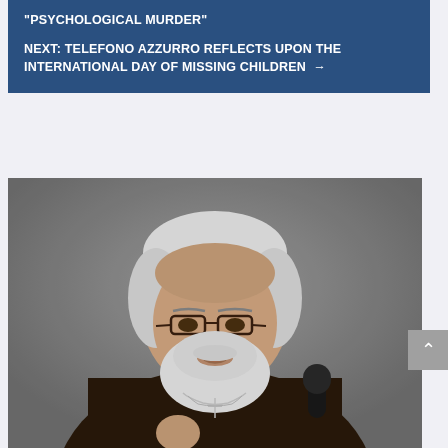"PSYCHOLOGICAL MURDER"
NEXT: TELEFONO AZZURRO REFLECTS UPON THE INTERNATIONAL DAY OF MISSING CHILDREN →
[Figure (photo): A elderly man with white hair and a white beard, wearing glasses and a dark brown Franciscan habit with a pectoral cross, speaking at a microphone. He appears to be a Catholic Cardinal or Bishop at a press conference.]